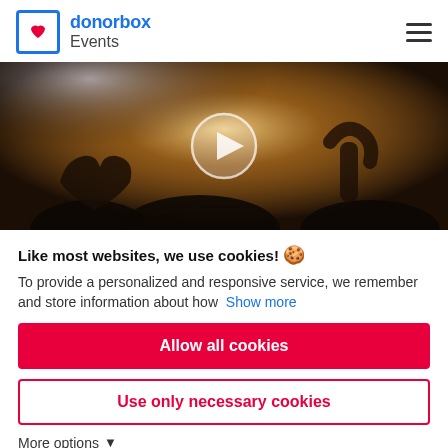[Figure (logo): Donorbox Events logo with blue bracket icon containing a red heart, and text 'donorbox Events' in blue and gray]
[Figure (screenshot): Video thumbnail of a concert crowd with hands raised making heart shapes, with a play button overlay]
Like most websites, we use cookies! 🍪
To provide a personalized and responsive service, we remember and store information about how  Show more
Allow all cookies
Use only necessary cookies
More options ▾